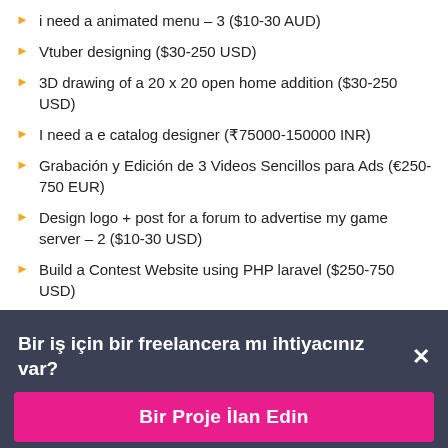i need a animated menu – 3 ($10-30 AUD)
Vtuber designing ($30-250 USD)
3D drawing of a 20 x 20 open home addition ($30-250 USD)
I need a e catalog designer (₹75000-150000 INR)
Grabación y Edición de 3 Videos Sencillos para Ads (€250-750 EUR)
Design logo + post for a forum to advertise my game server – 2 ($10-30 USD)
Build a Contest Website using PHP laravel ($250-750 USD)
Bir iş için bir freelancera mı ihtiyacınız var? ×
Bir Proje İlan Edin